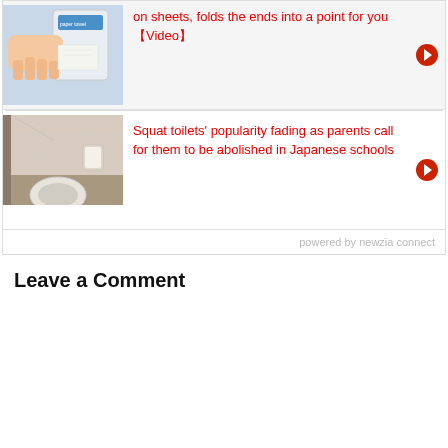[Figure (photo): Hand pulling paper from a paper towel dispenser]
on sheets, folds the ends into a point for you 【Video】
[Figure (photo): Squat toilet in a school bathroom]
Squat toilets' popularity fading as parents call for them to be abolished in Japanese schools
powered by newzia connect
Leave a Comment